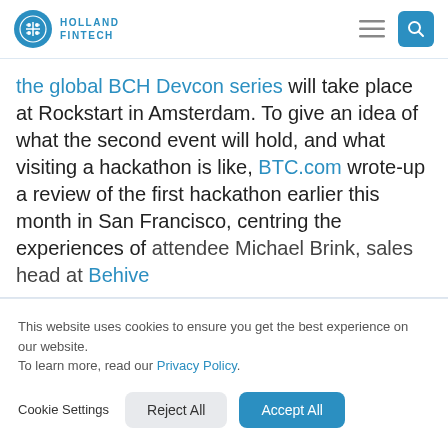Holland Fintech — navigation header with logo, menu and search icons
the global BCH Devcon series will take place at Rockstart in Amsterdam. To give an idea of what the second event will hold, and what visiting a hackathon is like, BTC.com wrote-up a review of the first hackathon earlier this month in San Francisco, centring the experiences of attendee Michael Brink, sales head at Behive
This website uses cookies to ensure you get the best experience on our website.
To learn more, read our Privacy Policy.